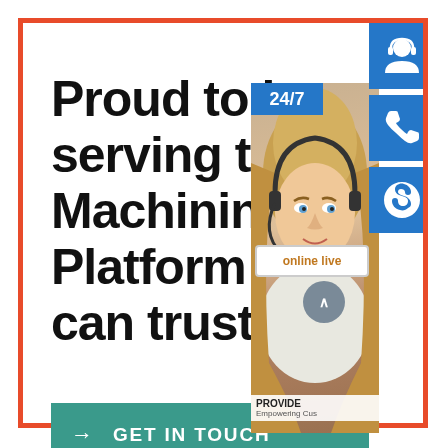Proud to be serving the Machining Platform you can trust
[Figure (illustration): Customer service representative with headset, 24/7 support badge, phone and Skype contact icons, 'online live' button overlay]
GET IN TOUCH